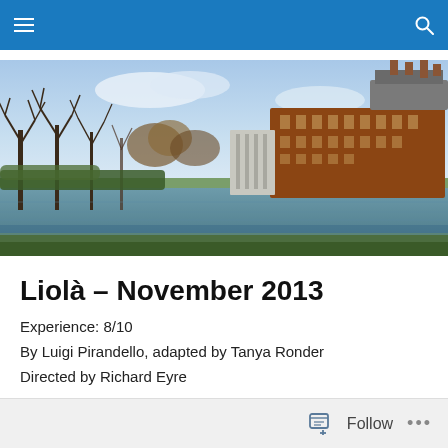Navigation bar with menu and search icons
[Figure (photo): Outdoor photo of a riverside scene with bare winter trees on the left and a large red-brick theatre building (RSC) on the right, under a partly cloudy sky.]
Liolà – November 2013
Experience: 8/10
By Luigi Pirandello, adapted by Tanya Ronder
Directed by Richard Eyre
Follow  ...